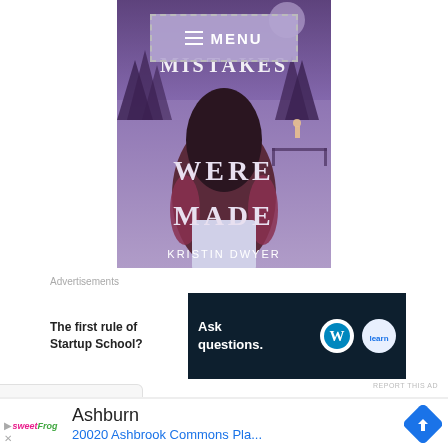[Figure (illustration): Book cover for 'Mistakes Were Made' by Kristin Dwyer. Purple/violet background with a girl with dark hair seen from behind. Text reads 'MISTAKES WERE MADE' and 'KRISTIN DWYER'. A menu overlay button is shown at the top center.]
Advertisements
[Figure (screenshot): Advertisement banner: left side text 'The first rule of Startup School?' Right side dark blue banner with 'Ask questions.' and WordPress and Fiverr logos.]
REPORT THIS AD
[Figure (screenshot): Mobile ad for sweetFrog frozen yogurt: sweetFrog logo, city 'Ashburn', address '20020 Ashbrook Commons Pla...' with a blue navigation diamond arrow icon.]